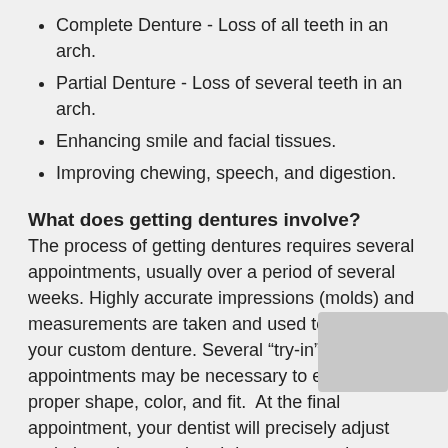Complete Denture - Loss of all teeth in an arch.
Partial Denture - Loss of several teeth in an arch.
Enhancing smile and facial tissues.
Improving chewing, speech, and digestion.
What does getting dentures involve?
The process of getting dentures requires several appointments, usually over a period of several weeks. Highly accurate impressions (molds) and measurements are taken and used to create your custom denture. Several “try-in” appointments may be necessary to ensure proper shape, color, and fit.  At the final appointment, your dentist will precisely adjust and place the completed denture, ensuring a natural and comfortable fit.
It is normal to experience increased saliva flow, some soreness, and possible speech and chewing difficulty, however this will subside as your muscles and tissues get